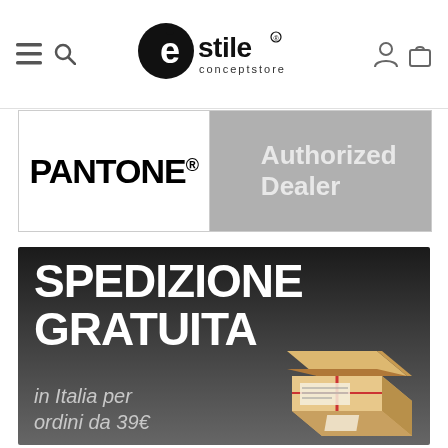Estile Conceptstore — navigation bar with hamburger, search, logo, user and cart icons
[Figure (logo): Pantone Authorized Dealer banner — left half white with PANTONE® in black bold, right half grey with 'Authorized Dealer' in white bold]
[Figure (infographic): Spedizione Gratuita promotional banner — black to grey gradient background, large white bold text 'SPEDIZIONE GRATUITA', smaller italic text 'in Italia per ordini da 39€', cardboard box illustration on the right]